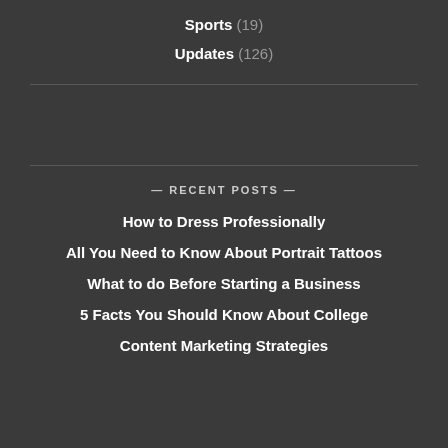Sports (19)
Updates (126)
— RECENT POSTS —
How to Dress Professionally
All You Need to Know About Portrait Tattoos
What to do Before Starting a Business
5 Facts You Should Know About College
Content Marketing Strategies